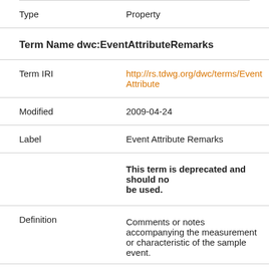| Type | Property |
| Term Name dwc:EventAttributeRemarks |  |
| Term IRI | http://rs.tdwg.org/dwc/terms/EventAttribute... |
| Modified | 2009-04-24 |
| Label | Event Attribute Remarks |
|  | This term is deprecated and should not be used. |
| Definition | Comments or notes accompanying the measurement or characteristic of the sample event. |